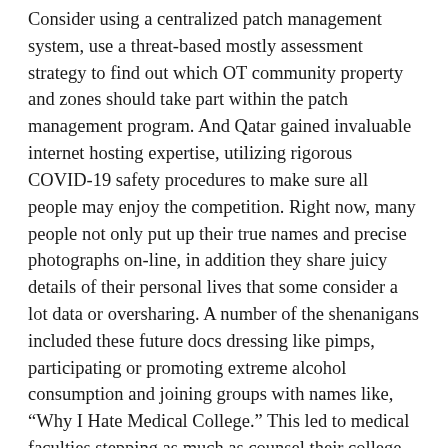Consider using a centralized patch management system, use a threat-based mostly assessment strategy to find out which OT community property and zones should take part within the patch management program. And Qatar gained invaluable internet hosting expertise, utilizing rigorous COVID-19 safety procedures to make sure all people may enjoy the competition. Right now, many people not only put up their true names and precise photographs on-line, in addition they share juicy details of their personal lives that some consider a lot data or oversharing. A number of the shenanigans included these future docs dressing like pimps, participating or promoting extreme alcohol consumption and joining groups with names like, “Why I Hate Medical College.” This led to medical faculties stepping as much as counsel their college students on what’s appropriate information to share online and what isn’t. That info — like tales of binge drinking or informal romantic encounters — could come again to haunt anybody who chooses to share his or her life online. Any synthesizer, like an digital keyboard or MIDI guitar, is made up of both hardware